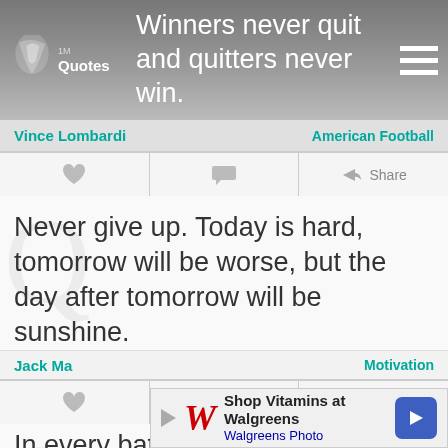Winners never quit and quitters never win.
Vince Lombardi — American Football
Never give up. Today is hard, tomorrow will be worse, but the day after tomorrow will be sunshine.
Jack Ma — Motivation
In every battle there comes a time when both sides consider themselves beaten, then he
[Figure (screenshot): Walgreens ad banner: Shop Vitamins at Walgreens / Walgreens Photo]